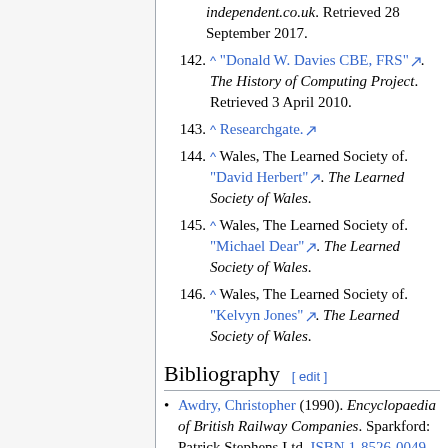independent.co.uk. Retrieved 28 September 2017.
142. ^ "Donald W. Davies CBE, FRS". The History of Computing Project. Retrieved 3 April 2010.
143. ^ Researchgate.
144. ^ Wales, The Learned Society of. "David Herbert". The Learned Society of Wales.
145. ^ Wales, The Learned Society of. "Michael Dear". The Learned Society of Wales.
146. ^ Wales, The Learned Society of. "Kelvyn Jones". The Learned Society of Wales.
Bibliography [ edit ]
Awdry, Christopher (1990). Encyclopaedia of British Railway Companies. Sparkford: Patrick Stephens Ltd. ISBN 1-8526-0049-7.